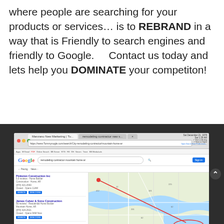where people are searching for your products or services… is to REBRAND in a way that is Friendly to search engines and friendly to Google.    Contact us today and lets help you DOMINATE your competiton!
[Figure (screenshot): Screenshot of a Google search results page for 'remodeling contractor mountain home ar', showing local business listings on the left (Pinkston Construction Inc, James Culver & Sons Construction, Gregory Co Inc) and a map on the right with a red arrow pointing to a circled map marker labeled 'Mountain Home Remodeling Company'. The browser chrome shows Mac OS toolbar, address bar, and tabs.]